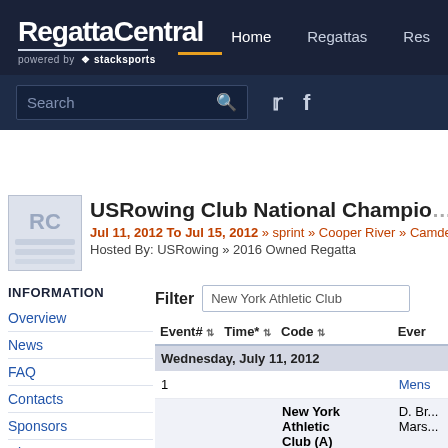RegattaCentral powered by stacksports | Home | Regattas | Res...
USRowing Club National Champio...
Jul 11, 2012 To Jul 15, 2012 » sprint » Cooper River » Camden, ...
Hosted By: USRowing » 2016 Owned Regatta
INFORMATION
Overview
News
FAQ
Contacts
Sponsors
History
Venue
Volunteer
Filter: New York Athletic Club
| Event# | Time* | Code | Ever... |
| --- | --- | --- | --- |
| Wednesday, July 11, 2012 |  |  |  |
| 1 |  |  | Mens... |
|  |  | New York Athletic Club (A) | D. Br... Mars... |
| 2 |  |  | Wom... |
|  |  | New York Athletic Club (A) | M. La... |